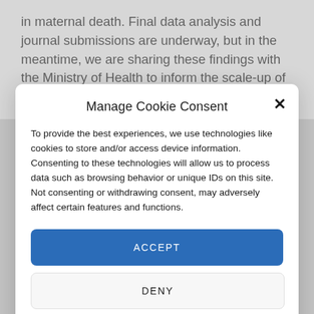in maternal death. Final data analysis and journal submissions are underway, but in the meantime, we are sharing these findings with the Ministry of Health to inform the scale-up of OHI to
Manage Cookie Consent
To provide the best experiences, we use technologies like cookies to store and/or access device information. Consenting to these technologies will allow us to process data such as browsing behavior or unique IDs on this site. Not consenting or withdrawing consent, may adversely affect certain features and functions.
ACCEPT
DENY
VIEW PREFERENCES